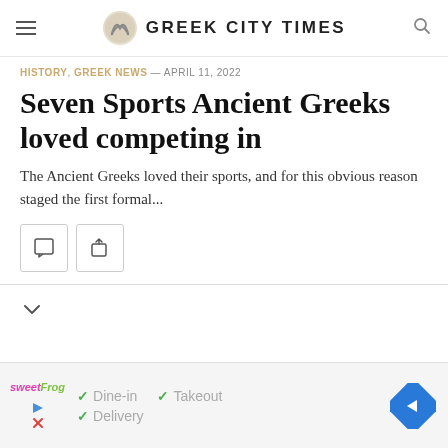GREEK CITY TIMES
HISTORY, GREEK NEWS — APRIL 11, 2022
Seven Sports Ancient Greeks loved competing in
The Ancient Greeks loved their sports, and for this obvious reason staged the first formal...
[Figure (screenshot): Action buttons: comment icon and share icon]
[Figure (screenshot): Advertisement banner for sweetFrog showing Dine-in, Takeout, Delivery options]